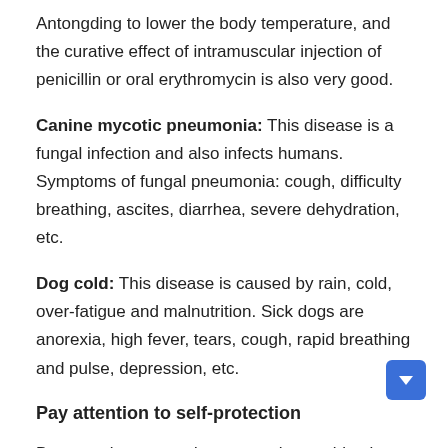Antongding to lower the body temperature, and the curative effect of intramuscular injection of penicillin or oral erythromycin is also very good.
Canine mycotic pneumonia: This disease is a fungal infection and also infects humans. Symptoms of fungal pneumonia: cough, difficulty breathing, ascites, diarrhea, severe dehydration, etc.
Dog cold: This disease is caused by rain, cold, over-fatigue and malnutrition. Sick dogs are anorexia, high fever, tears, cough, rapid breathing and pulse, depression, etc.
Pay attention to self-protection
Dogs are beasts, and no matter how spiritual, they are beasts. Therefore, when training police dogs to learn how to arrest, trainers should wear protective clothing. When raising dogs and training dogs, they must always pay attention to their own safety